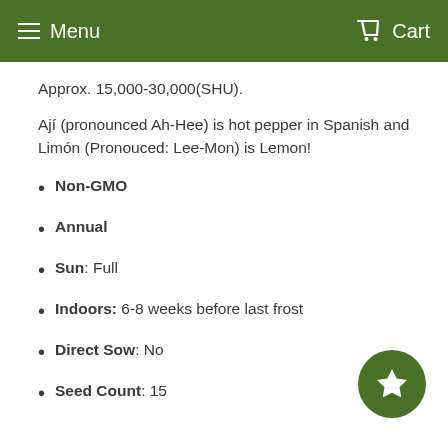Menu   Cart
Approx. 15,000-30,000(SHU).
Ají (pronounced Ah-Hee) is hot pepper in Spanish and Limón (Pronouced: Lee-Mon) is Lemon!
Non-GMO
Annual
Sun: Full
Indoors: 6-8 weeks before last frost
Direct Sow: No
Seed Count: 15